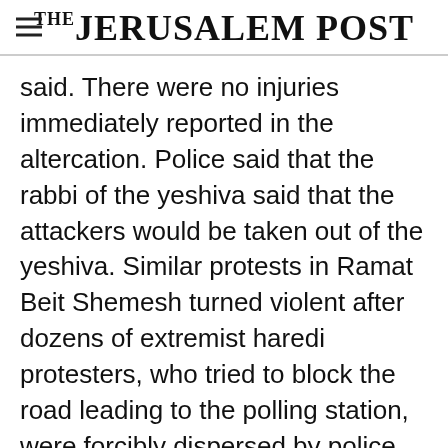THE JERUSALEM POST
said. There were no injuries immediately reported in the altercation. Police said that the rabbi of the yeshiva said that the attackers would be taken out of the yeshiva. Similar protests in Ramat Beit Shemesh turned violent after dozens of extremist haredi protesters, who tried to block the road leading to the polling station, were forcibly dispersed by police. Around midday, a Shas activist was arrested at a city polling station
Advertisement